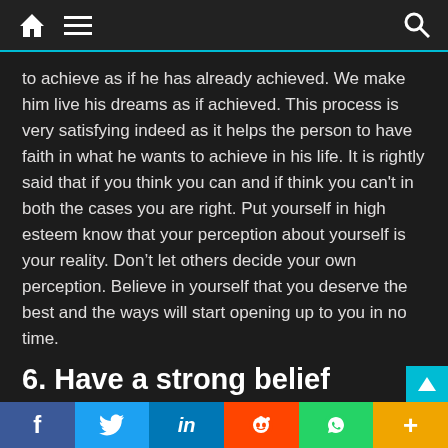Navigation bar with home, menu, and search icons
to achieve as if he has already achieved. We make him live his dreams as if achieved. This process is very satisfying indeed as it helps the person to have faith in what he wants to achieve in his life. It is rightly said that if you think you can and if think you can't in both the cases you are right. Put yourself in high esteem know that your perception about yourself is your reality. Don't let others decide your own perception. Believe in yourself that you deserve the best and the ways will start opening up to you in no time.
6. Have a strong belief system
The belief system is all about having some firmly held beliefs to live by. Speak from your heart when you do. Find beliefs in nature that...
f  Twitter  in  Reddit  WhatsApp  +